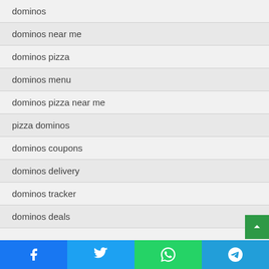dominos
dominos near me
dominos pizza
dominos menu
dominos pizza near me
pizza dominos
dominos coupons
dominos delivery
dominos tracker
dominos deals
Facebook | Twitter | WhatsApp | Telegram